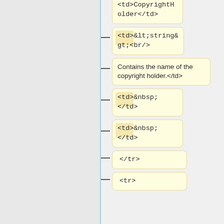<td>CopyrightHolder</td>
<td>&lt;string&gt;<br/>
Contains the name of the copyright holder.</td>
<td>&nbsp;</td>
<td>&nbsp;</td>
</tr>
<tr>